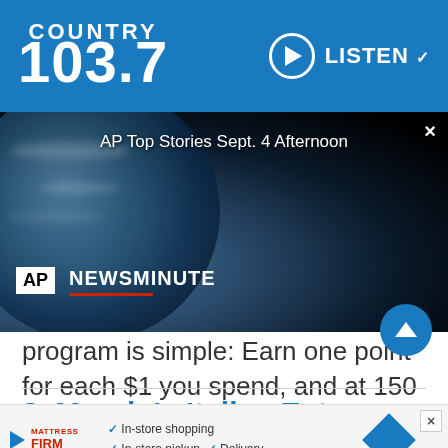COUNTRY 103.7 — LISTEN
[Figure (screenshot): AP Newsminute video overlay showing Earth from space background with text 'AP Top Stories Sept. 4 Afternoon' and AP Newsminute logo]
program is simple: Earn one point for each $1 you spend, and at 150 points, MOD will reward you with a FREE MOD menu item. Believe it!
8. Mazzio's Italian Eatery
[Figure (screenshot): Mattress Firm advertisement banner with in-store shopping, in-store pickup, and delivery options]